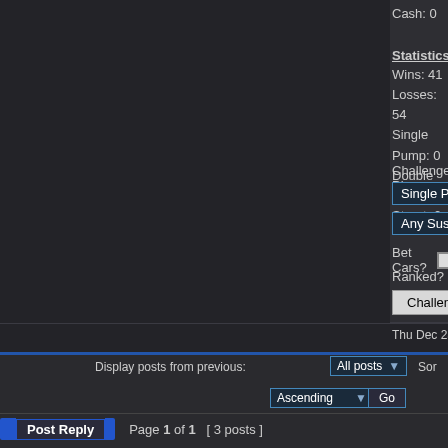Cash: 0
Statistics
Wins: 41
Losses: 54
Single Pump: 0
Double Pump: 0
Street: 0
Challenge Player
Single Pump [dropdown]
Any Suspension [dropdown]
Bet Cars? [checkbox]
Ranked? [checkbox]
Challenge [button]
Thu Dec 25, 2008 9:18 pm
PROFILE | ICQ
Display posts from previous: All posts [dropdown] Sor
Ascending [dropdown] Go
Post Reply   Page 1 of 1  [ 3 posts ]
Board index » The Lowrider Game » Support
Who is online
Users browsing this forum: No registered users and 0 gue
You cannot p
You cannot po
You cannot e
You cannot del
You cannot pos